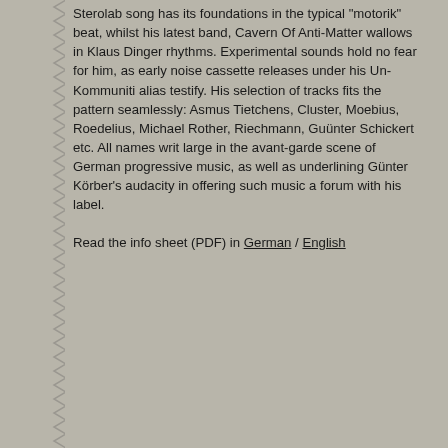Sterolab song has its foundations in the typical "motorik" beat, whilst his latest band, Cavern Of Anti-Matter wallows in Klaus Dinger rhythms. Experimental sounds hold no fear for him, as early noise cassette releases under his Un-Kommuniti alias testify. His selection of tracks fits the pattern seamlessly: Asmus Tietchens, Cluster, Moebius, Roedelius, Michael Rother, Riechmann, Guünter Schickert etc. All names writ large in the avant-garde scene of German progressive music, as well as underlining Günter Körber's audacity in offering such music a forum with his label.
Read the info sheet (PDF) in German / English